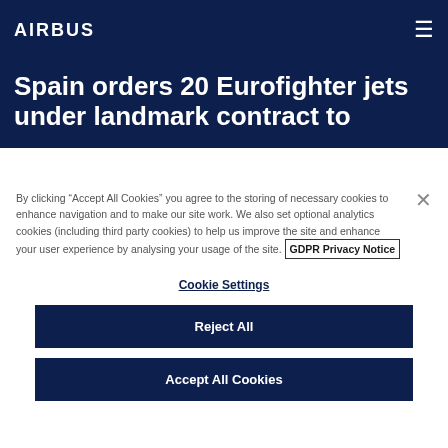AIRBUS
Spain orders 20 Eurofighter jets under landmark contract to
By clicking “Accept All Cookies” you agree to the storing of necessary cookies to enhance navigation and to make our site work. We also set optional analytics cookies (including third party cookies) to help us improve the site and enhance your user experience by analysing your usage of the site. GDPR Privacy Notice
Cookie Settings
Reject All
Accept All Cookies